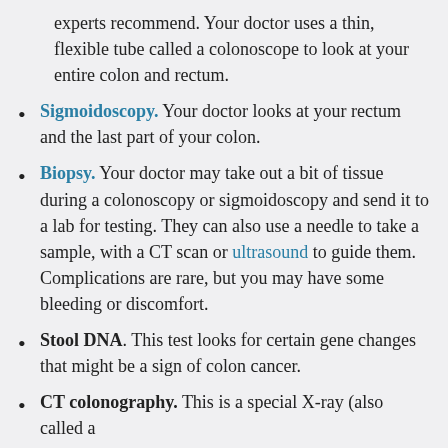experts recommend. Your doctor uses a thin, flexible tube called a colonoscope to look at your entire colon and rectum.
Sigmoidoscopy. Your doctor looks at your rectum and the last part of your colon.
Biopsy. Your doctor may take out a bit of tissue during a colonoscopy or sigmoidoscopy and send it to a lab for testing. They can also use a needle to take a sample, with a CT scan or ultrasound to guide them. Complications are rare, but you may have some bleeding or discomfort.
Stool DNA. This test looks for certain gene changes that might be a sign of colon cancer.
CT colonography. This is a special X-ray (also called a